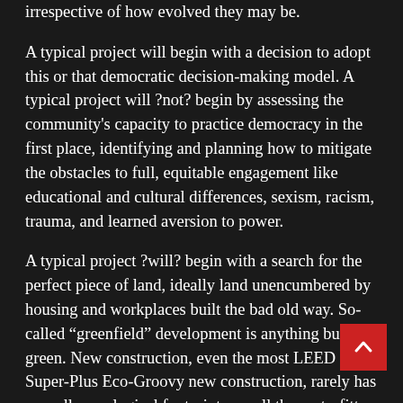irrespective of how evolved they may be.
A typical project will begin with a decision to adopt this or that democratic decision-making model. A typical project will ?not? begin by assessing the community's capacity to practice democracy in the first place, identifying and planning how to mitigate the obstacles to full, equitable engagement like educational and cultural differences, sexism, racism, trauma, and learned aversion to power.
A typical project ?will? begin with a search for the perfect piece of land, ideally land unencumbered by housing and workplaces built the bad old way. So-called “greenfield” development is anything but green. New construction, even the most LEED Super-Plus Eco-Groovy new construction, rarely has a smaller ecological footprint overall than retrofitting the buildings we already have, and that’s to say nothing of the transportation and infrastructure